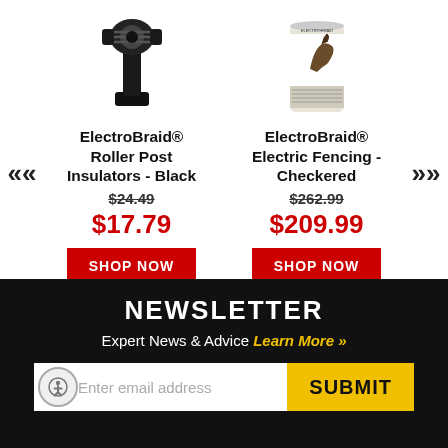[Figure (photo): ElectroBraid Roller Post Insulator - Black product image, black plastic roller insulator against white background]
[Figure (photo): ElectroBraid Electric Fencing - Checkered product image, cylindrical container with horse image on label]
ElectroBraid® Roller Post Insulators - Black
$24.49 (strikethrough)
$17.79
SHOP NOW
ElectroBraid® Electric Fencing - Checkered
$262.99 (strikethrough)
$209.99
SHOP NOW
NEWSLETTER
Expert News & Advice Learn More »
Enter email address
SUBMIT